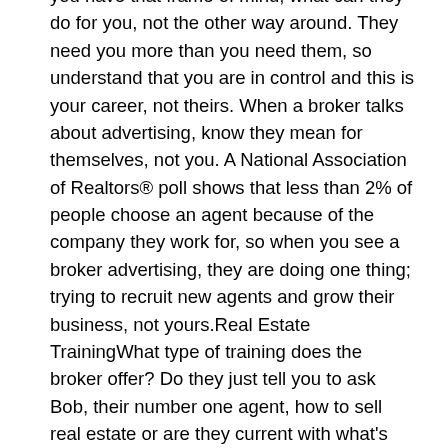you have that frame of mind; what can they do for you, not the other way around. They need you more than you need them, so understand that you are in control and this is your career, not theirs. When a broker talks about advertising, know they mean for themselves, not you. A National Association of Realtors® poll shows that less than 2% of people choose an agent because of the company they work for, so when you see a broker advertising, they are doing one thing; trying to recruit new agents and grow their business, not yours.Real Estate TrainingWhat type of training does the broker offer? Do they just tell you to ask Bob, their number one agent, how to sell real estate or are they current with what's going on in the local market? Since real estate is cyclical, what works one minute isn't necessarily going to work the next, so top real estate firms have to stay on top of current events to help their agents master the market of the moment. A training manual copyrighted 1994 isn't going to help you run a successful business today, so make sure the office you choose is on task with the current economy.Real Estate Business ModelWhat's the company's business model? Do they just throw you up